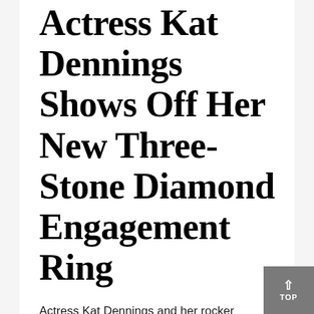Actress Kat Dennings Shows Off Her New Three-Stone Diamond Engagement Ring
Actress Kat Dennings and her rocker boyfriend Andrew W.K. turned to Instagram last Thursday to tell the world — in very few words — that they